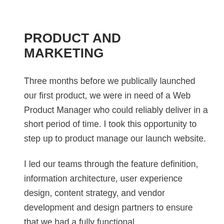PRODUCT AND MARKETING
Three months before we publically launched our first product, we were in need of a Web Product Manager who could reliably deliver in a short period of time. I took this opportunity to step up to product manage our launch website.
I led our teams through the feature definition, information architecture, user experience design, content strategy, and vendor development and design partners to ensure that we had a fully functional